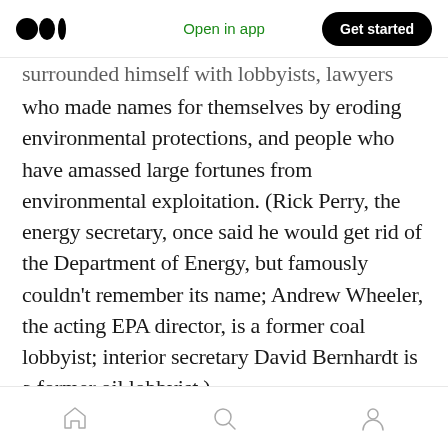Medium logo | Open in app | Get started
surrounded himself with lobbyists, lawyers who made names for themselves by eroding environmental protections, and people who have amassed large fortunes from environmental exploitation. (Rick Perry, the energy secretary, once said he would get rid of the Department of Energy, but famously couldn’t remember its name; Andrew Wheeler, the acting EPA director, is a former coal lobbyist; interior secretary David Bernhardt is a former oil lobbyist.)
It’s easy to find more Trump environment stories. The New York Times keeps a handy tally of
Home | Search | Profile